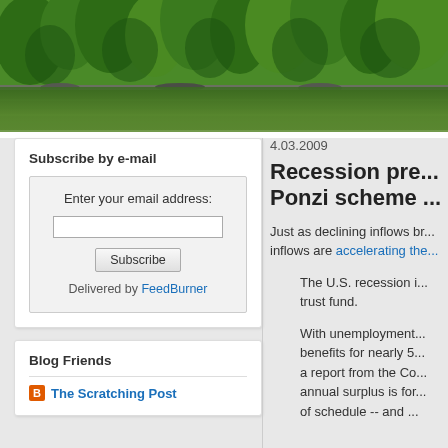[Figure (photo): Forest and lake reflection header image showing green trees reflected in dark water]
Subscribe by e-mail
Enter your email address:
Delivered by FeedBurner
Blog Friends
The Scratching Post
4.03.2009
Recession pre... Ponzi scheme ...
Just as declining inflows br... inflows are accelerating the...
The U.S. recession i... trust fund.
With unemployment... benefits for nearly 5... a report from the Co... annual surplus is for... of schedule -- and ...